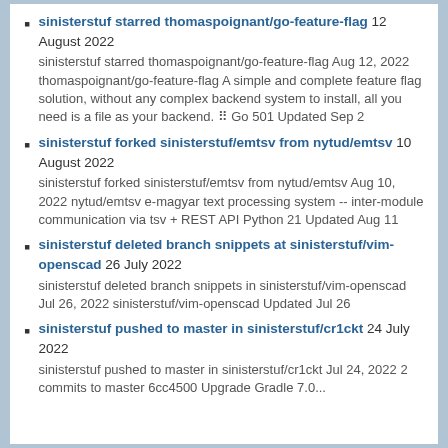sinisterstuf starred thomaspoignant/go-feature-flag 12 August 2022
sinisterstuf starred thomaspoignant/go-feature-flag Aug 12, 2022 thomaspoignant/go-feature-flag A simple and complete feature flag solution, without any complex backend system to install, all you need is a file as your backend. Go 501 Updated Sep 2
sinisterstuf forked sinisterstuf/emtsv from nytud/emtsv 10 August 2022
sinisterstuf forked sinisterstuf/emtsv from nytud/emtsv Aug 10, 2022 nytud/emtsv e-magyar text processing system -- inter-module communication via tsv + REST API Python 21 Updated Aug 11
sinisterstuf deleted branch snippets at sinisterstuf/vim-openscad 26 July 2022
sinisterstuf deleted branch snippets in sinisterstuf/vim-openscad Jul 26, 2022 sinisterstuf/vim-openscad Updated Jul 26
sinisterstuf pushed to master in sinisterstuf/cr1ckt 24 July 2022
sinisterstuf pushed to master in sinisterstuf/cr1ckt Jul 24, 2022 2 commits to master 6cc4500 Upgrade Gradle 7.0...